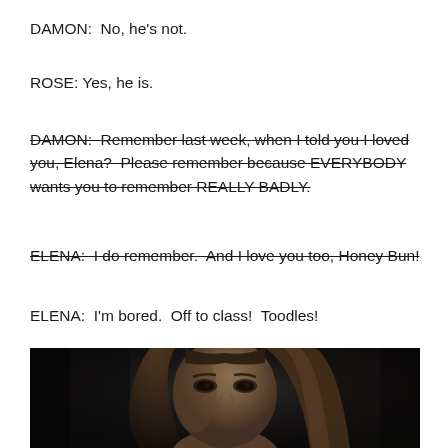DAMON:  No, he's not.
ROSE: Yes, he is.
DAMON:  Remember last week, when I told you I loved you, Elena?  Please remember because EVERYBODY wants you to remember REALLY BADLY. [strikethrough]
ELENA:  I do remember.  And I love you too, Honey Bun! [strikethrough]
ELENA:  I'm bored.  Off to class!  Toodles!
[Figure (photo): Dark, moody close-up photo of a young woman with long straight brown hair, looking directly at the camera with a serious expression. Background is blurred and dark.]